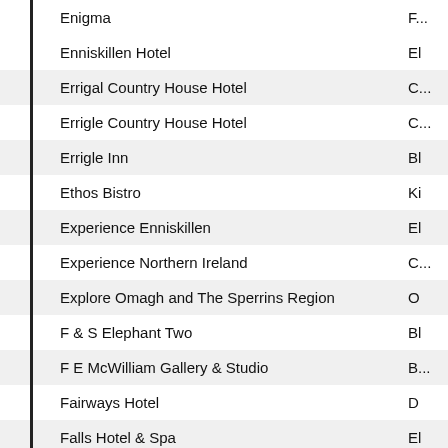| Name | Location |
| --- | --- |
| Enigma | F... |
| Enniskillen Hotel | El |
| Errigal Country House Hotel | C... |
| Errigle Country House Hotel | C... |
| Errigle Inn | Bl |
| Ethos Bistro | Ki |
| Experience Enniskillen | El |
| Experience Northern Ireland | C... |
| Explore Omagh and The Sperrins Region | O |
| F & S Elephant Two | Bl |
| F E McWilliam Gallery & Studio | B... |
| Fairways Hotel | D |
| Falls Hotel & Spa | El |
| Farnham Estate | C... |
| Felons Club | Bl |
| Fergusons Bar & Bistro | D |
| Fermanagh Lakelands Tourism | El |
| Fiacri Country | R... |
| Fibher Magees | Bl |